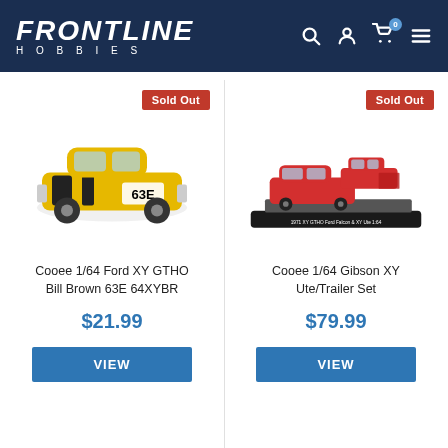FRONTLINE HOBBIES
[Figure (photo): Cooee 1/64 Ford XY GTHO yellow racing car model #63E with black stripes]
Sold Out
Cooee 1/64 Ford XY GTHO Bill Brown 63E 64XYBR
$21.99
VIEW
[Figure (photo): Cooee 1/64 Gibson XY Ute/Trailer Set with red vehicles on black display base]
Sold Out
Cooee 1/64 Gibson XY Ute/Trailer Set
$79.99
VIEW